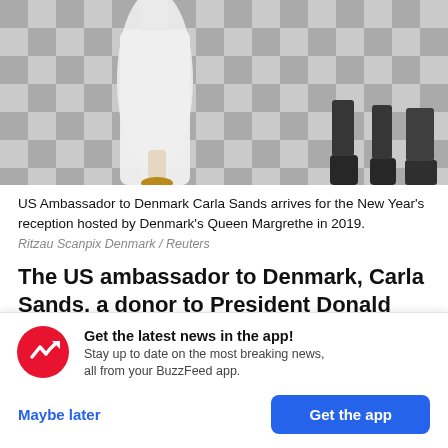[Figure (photo): Photo of US Ambassador to Denmark Carla Sands arriving for the New Year's reception. Shows figure in white dress on a black and white checkered marble floor, with dark shoes visible on the right.]
US Ambassador to Denmark Carla Sands arrives for the New Year's reception hosted by Denmark's Queen Margrethe in 2019.
Ritzau Scanpix Denmark / Reuters
The US ambassador to Denmark, Carla Sands, a donor to President Donald Trump's first presidential campaign, has banned a NATO expert who has been critical of the president from
Get the latest news in the app! Stay up to date on the most breaking news, all from your BuzzFeed app.
Maybe later
Get the app